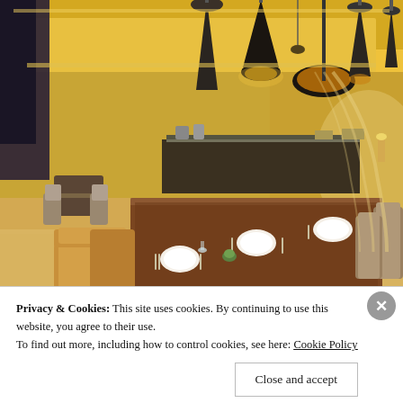[Figure (photo): Interior of an upscale restaurant with tan leather chairs around a long wooden dining table set with white plates and cutlery. Multiple dark pendant lights hang from a yellow-lit ceiling. A bar/buffet area is visible in the background.]
Privacy & Cookies: This site uses cookies. By continuing to use this website, you agree to their use.
To find out more, including how to control cookies, see here: Cookie Policy
Close and accept